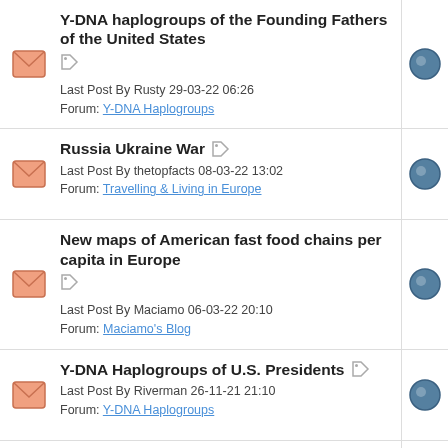Y-DNA haplogroups of the Founding Fathers of the United States
Last Post By Rusty 29-03-22 06:26
Forum: Y-DNA Haplogroups
Russia Ukraine War
Last Post By thetopfacts 08-03-22 13:02
Forum: Travelling & Living in Europe
New maps of American fast food chains per capita in Europe
Last Post By Maciamo 06-03-22 20:10
Forum: Maciamo's Blog
Y-DNA Haplogroups of U.S. Presidents
Last Post By Riverman 26-11-21 21:10
Forum: Y-DNA Haplogroups
Is it time for Americans to stop using their